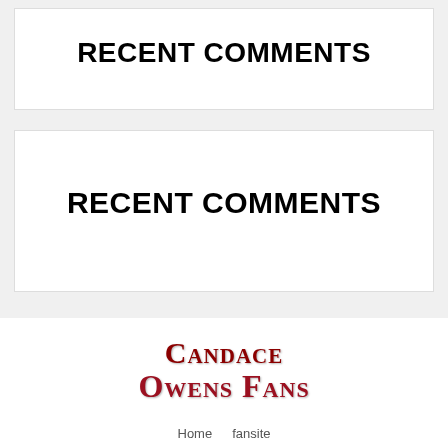RECENT COMMENTS
RECENT COMMENTS
[Figure (logo): Candace Owens Fans logo in dark red serif font with small-caps styling, two lines: 'Candace' and 'Owens Fans']
Home   fansite
Copyright © 2022 Candace Owens Fans